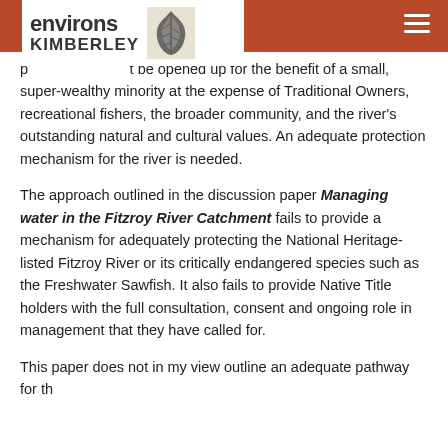environs KIMBERLEY
p[...] t be opened up for the benefit of a small, super-wealthy minority at the expense of Traditional Owners, recreational fishers, the broader community, and the river's outstanding natural and cultural values. An adequate protection mechanism for the river is needed.
The approach outlined in the discussion paper Managing water in the Fitzroy River Catchment fails to provide a mechanism for adequately protecting the National Heritage-listed Fitzroy River or its critically endangered species such as the Freshwater Sawfish. It also fails to provide Native Title holders with the full consultation, consent and ongoing role in management that they have called for.
This paper does not in my view outline an adequate pathway for th...